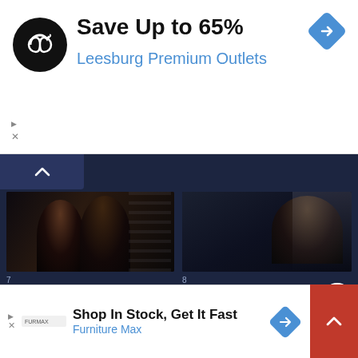[Figure (screenshot): Top ad banner: black circular logo with infinity symbol, text 'Save Up to 65%' in bold black and 'Leesburg Premium Outlets' in blue, blue diamond arrow icon on right]
[Figure (screenshot): Dark UI content area with video thumbnails grid. Item 7: 'Aapki Mummy Don Hai' with dark silhouette movie scene. Item 8: 'Grahan Hai Aaj' with dark portrait scene. Item 9: 'Dharm Sankat' with bright stage/concert scene.]
[Figure (screenshot): Bottom ad banner: 'Shop In Stock, Get It Fast' bold headline, 'Furniture Max' in blue, blue arrow diamond icon, red scroll-to-top button, close X button]